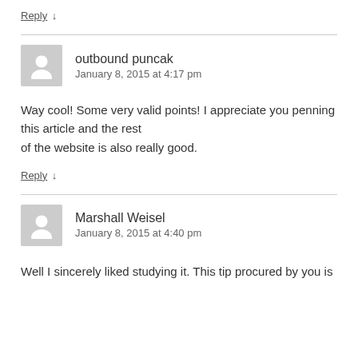Reply ↓
outbound puncak
January 8, 2015 at 4:17 pm
Way cool! Some very valid points! I appreciate you penning this article and the rest of the website is also really good.
Reply ↓
Marshall Weisel
January 8, 2015 at 4:40 pm
Well I sincerely liked studying it. This tip procured by you is